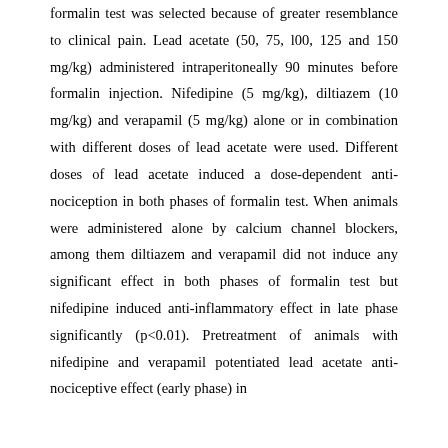formalin test was selected because of greater resemblance to clinical pain. Lead acetate (50, 75, l00, 125 and 150 mg/kg) administered intraperitoneally 90 minutes before formalin injection. Nifedipine (5 mg/kg), diltiazem (10 mg/kg) and verapamil (5 mg/kg) alone or in combination with different doses of lead acetate were used. Different doses of lead acetate induced a dose-dependent anti- nociception in both phases of formalin test. When animals were administered alone by calcium channel blockers, among them diltiazem and verapamil did not induce any significant effect in both phases of formalin test but nifedipine induced anti-inflammatory effect in late phase significantly (p<0.01). Pretreatment of animals with nifedipine and verapamil potentiated lead acetate anti-nociceptive effect (early phase) in